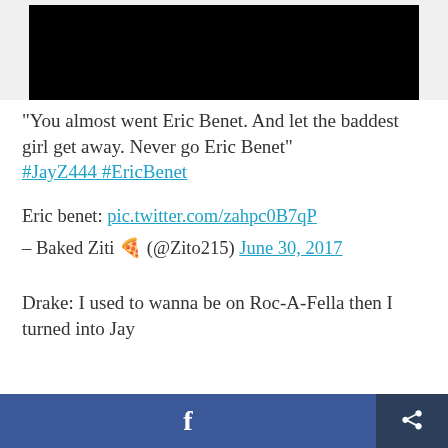[Figure (photo): Black rectangle representing a video or image thumbnail]
"You almost went Eric Benet. And let the baddest girl get away. Never go Eric Benet" #JayZ444 #EricBenet
Eric benet: pic.twitter.com/zahpc0B7qP
– Baked Ziti 🍕 (@Zito215) June 30, 2017
Drake: I used to wanna be on Roc-A-Fella then I turned into Jay